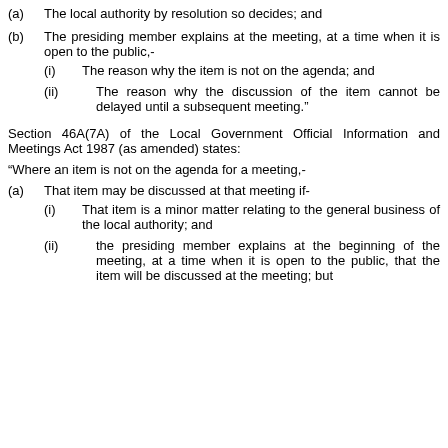(a) The local authority by resolution so decides; and
(b) The presiding member explains at the meeting, at a time when it is open to the public,-
(i) The reason why the item is not on the agenda; and
(ii) The reason why the discussion of the item cannot be delayed until a subsequent meeting.”
Section 46A(7A) of the Local Government Official Information and Meetings Act 1987 (as amended) states:
“Where an item is not on the agenda for a meeting,-
(a) That item may be discussed at that meeting if-
(i) That item is a minor matter relating to the general business of the local authority; and
(ii) the presiding member explains at the beginning of the meeting, at a time when it is open to the public, that the item will be discussed at the meeting; but